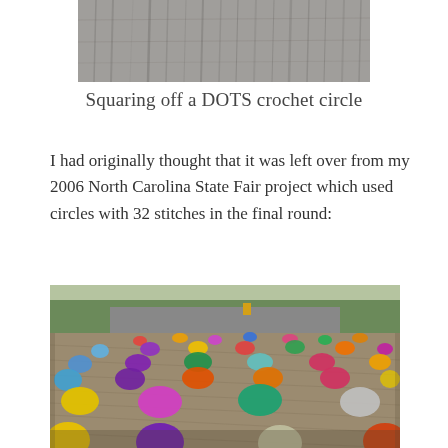[Figure (photo): Close-up of wooden planks / gray wooden texture background]
Squaring off a DOTS crochet circle
I had originally thought that it was left over from my 2006 North Carolina State Fair project which used circles with 32 stitches in the final round:
[Figure (photo): A large crochet blanket laid out on a driveway/asphalt, featuring colorful circular crochet dots (polka dots) in various colors including blue, purple, orange, pink, teal, green, yellow, red, on a tan/brown background. The blanket extends into the distance with trees visible in the background.]